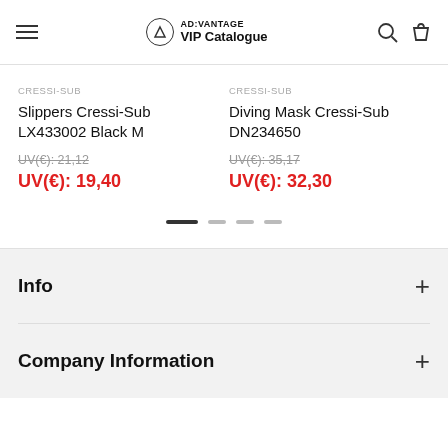AD:VANTAGE VIP Catalogue
CRESSI-SUB
Slippers Cressi-Sub LX433002 Black M
UV(€): 21,12
UV(€): 19,40
CRESSI-SUB
Diving Mask Cressi-Sub DN234650
UV(€): 35,17
UV(€): 32,30
Info
Company Information